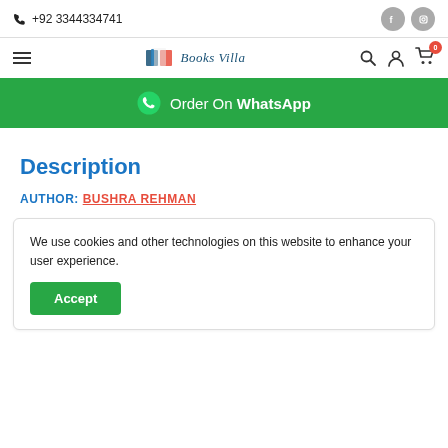+92 3344334741
[Figure (logo): Books Villa logo with book icon and italic text]
[Figure (infographic): Order On WhatsApp green banner with WhatsApp icon]
Description
AUTHOR: BUSHRA REHMAN
We use cookies and other technologies on this website to enhance your user experience.